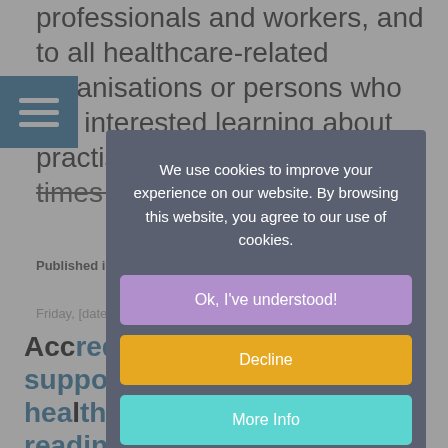professionals and workers, and to all healthcare-related organisations or persons who are interested learning about practising quality and safety in times of a crisis situation.
Published in: Blog   Read more
Friday, [date]
Accreditation: How it supported healthcare organizations' readiness for COVID-19!
[Figure (screenshot): Cookie consent modal overlay on a healthcare website. The modal has a dark grey background with white text reading 'We use cookies to improve your experience on our website. By browsing this website, you agree to our use of cookies.' Three buttons: purple 'Ok, I've understood!', orange 'Decline', and teal 'More Info'. Behind the dim overlay is a webpage about accreditation and healthcare organizations.]
In a world where data fluctuates between